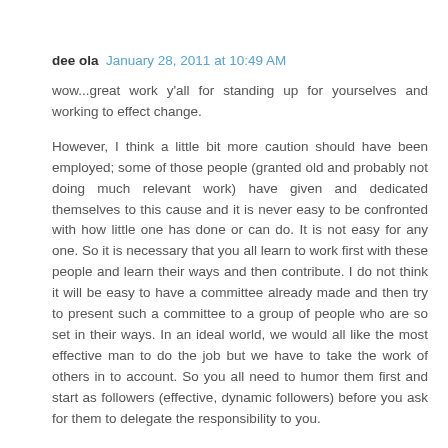dee ola  January 28, 2011 at 10:49 AM
wow...great work y'all for standing up for yourselves and working to effect change.

However, I think a little bit more caution should have been employed; some of those people (granted old and probably not doing much relevant work) have given and dedicated themselves to this cause and it is never easy to be confronted with how little one has done or can do. It is not easy for any one. So it is necessary that you all learn to work first with these people and learn their ways and then contribute. I do not think it will be easy to have a committee already made and then try to present such a committee to a group of people who are so set in their ways. In an ideal world, we would all like the most effective man to do the job but we have to take the work of others in to account. So you all need to humor them first and start as followers (effective, dynamic followers) before you ask for them to delegate the responsibility to you.